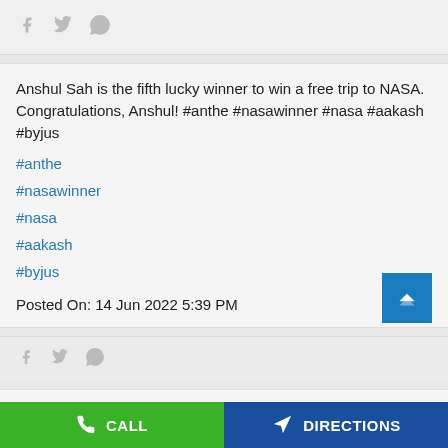[Figure (other): Social share icons bar (Facebook, Twitter, WhatsApp) at top]
Anshul Sah is the fifth lucky winner to win a free trip to NASA. Congratulations, Anshul! #anthe #nasawinner #nasa #aakash #byjus
#anthe
#nasawinner
#nasa
#aakash
#byjus
Posted On: 14 Jun 2022 5:39 PM
[Figure (other): Social share icons bar (Facebook, Twitter, WhatsApp) at card bottom]
Sakshi Lath is the third lucky winner to win a free trip to
[Figure (other): Bottom action bar with CALL (green) and DIRECTIONS (blue) buttons]